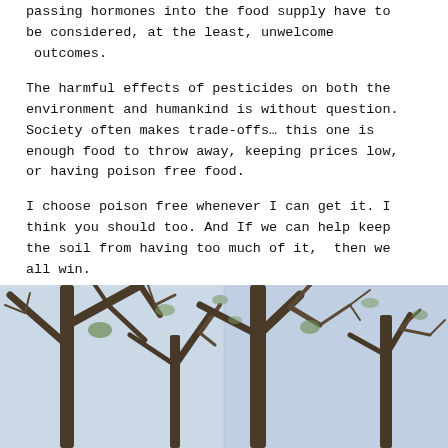passing hormones into the food supply have to be considered, at the least, unwelcome outcomes.
The harmful effects of pesticides on both the environment and humankind is without question. Society often makes trade-offs… this one is enough food to throw away, keeping prices low, or having poison free food.
I choose poison free whenever I can get it. I think you should too. And If we can help keep the soil from having too much of it,  then we all win.
[Figure (photo): Outdoor photograph of bare tree branches against a light blue sky, showing two slightly different exposures or angles side by side.]